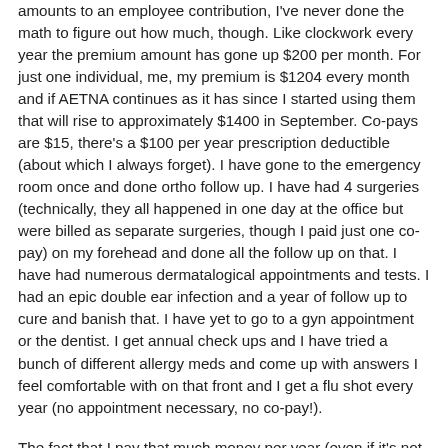amounts to an employee contribution, I've never done the math to figure out how much, though. Like clockwork every year the premium amount has gone up $200 per month. For just one individual, me, my premium is $1204 every month and if AETNA continues as it has since I started using them that will rise to approximately $1400 in September. Co-pays are $15, there's a $100 per year prescription deductible (about which I always forget). I have gone to the emergency room once and done ortho follow up. I have had 4 surgeries (technically, they all happened in one day at the office but were billed as separate surgeries, though I paid just one co-pay) on my forehead and done all the follow up on that. I have had numerous dermatalogical appointments and tests. I had an epic double ear infection and a year of follow up to cure and banish that. I have yet to go to a gyn appointment or the dentist. I get annual check ups and I have tried a bunch of different allergy meds and come up with answers I feel comfortable with on that front and I get a flu shot every year (no appointment necessary, no co-pay!).
The fact that I pay that much money per year (even if it's not all technically "my" money) chaps my ever loving ass. I